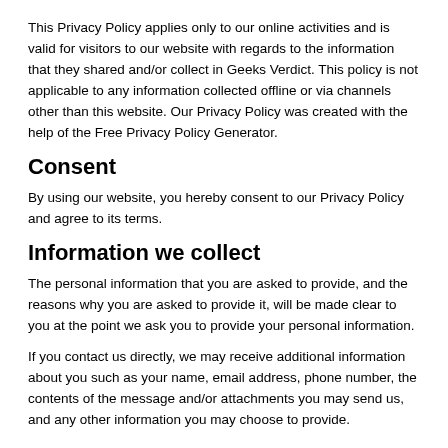This Privacy Policy applies only to our online activities and is valid for visitors to our website with regards to the information that they shared and/or collect in Geeks Verdict. This policy is not applicable to any information collected offline or via channels other than this website. Our Privacy Policy was created with the help of the Free Privacy Policy Generator.
Consent
By using our website, you hereby consent to our Privacy Policy and agree to its terms.
Information we collect
The personal information that you are asked to provide, and the reasons why you are asked to provide it, will be made clear to you at the point we ask you to provide your personal information.
If you contact us directly, we may receive additional information about you such as your name, email address, phone number, the contents of the message and/or attachments you may send us, and any other information you may choose to provide.